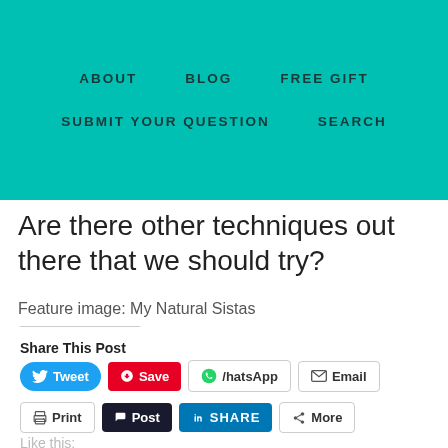ABOUT   BLOG   FREE GIFT   SUBMIT YOUR QUESTION   SEARCH
Are there other techniques out there that we should try?
Feature image: My Natural Sistas
Share This Post
Tweet  Save  WhatsApp  Email  Print  Post  SHARE  More
Like this: